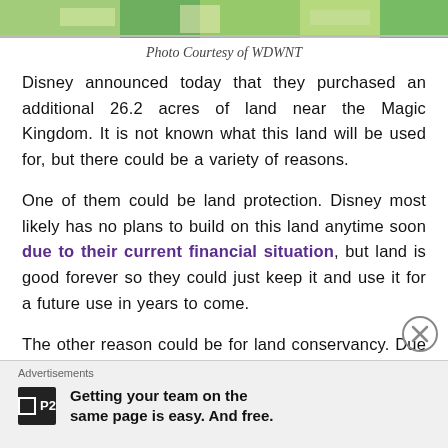[Figure (map): Aerial/map view strip of Magic Kingdom area land, green and road colors]
Photo Courtesy of WDWNT
Disney announced today that they purchased an additional 26.2 acres of land near the Magic Kingdom. It is not known what this land will be used for, but there could be a variety of reasons.
One of them could be land protection. Disney most likely has no plans to build on this land anytime soon due to their current financial situation, but land is good forever so they could just keep it and use it for a future use in years to come.
The other reason could be for land conservancy. Due to a deal Disney has with Florida, they have to keep a
Advertisements
Getting your team on the same page is easy. And free.